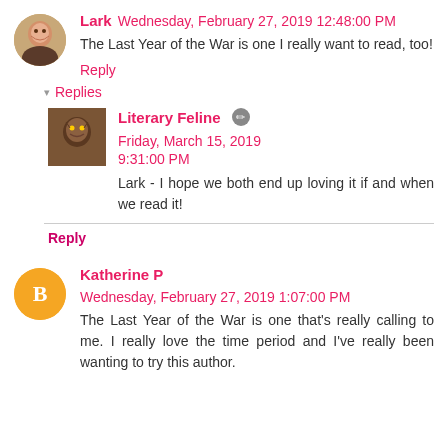Lark  Wednesday, February 27, 2019 12:48:00 PM
The Last Year of the War is one I really want to read, too!
Reply
Replies
Literary Feline  Friday, March 15, 2019 9:31:00 PM
Lark - I hope we both end up loving it if and when we read it!
Reply
Katherine P  Wednesday, February 27, 2019 1:07:00 PM
The Last Year of the War is one that's really calling to me. I really love the time period and I've really been wanting to try this author.